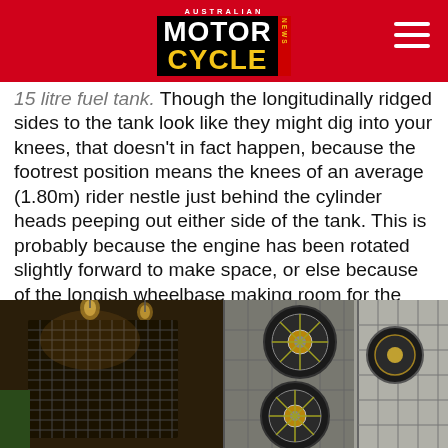AUSTRALIAN MOTOR CYCLE NEWS
15 litre fuel tank. Though the longitudinally ridged sides to the tank look like they might dig into your knees, that doesn't in fact happen, because the footrest position means the knees of an average (1.80m) rider nestle just behind the cylinder heads peeping out either side of the tank. This is probably because the engine has been rotated slightly forward to make space, or else because of the longish wheelbase making room for the frame to be stretched. Whatever the case, it's a well thought out riding stance with adequate footrest clearance when cranked over in normal use, and what looks like a rather plank-like seat in fact proved quite comfortable on our morning's ride round the lake and into the surrounding hills.
[Figure (photo): Interior of a motorcycle shop or garage showing industrial-style decor with a large grid/cage display on the left wall with lighting, motorcycle wheels and gear components mounted on the right wall section, with large factory-style windows in the background.]